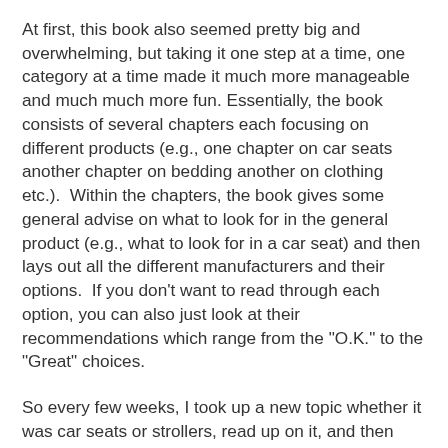At first, this book also seemed pretty big and overwhelming, but taking it one step at a time, one category at a time made it much more manageable and much much more fun. Essentially, the book consists of several chapters each focusing on different products (e.g., one chapter on car seats another chapter on bedding another on clothing etc.).  Within the chapters, the book gives some general advise on what to look for in the general product (e.g., what to look for in a car seat) and then lays out all the different manufacturers and their options.  If you don't want to read through each option, you can also just look at their recommendations which range from the "O.K." to the "Great" choices.
So every few weeks, I took up a new topic whether it was car seats or strollers, read up on it, and then Aaron and I hit the stores.  I know a lot of people swear by Babies R' Us but are favorite place is Buy Buy Baby, I have literally spent more days at this store in the past few months than anywhere else.    Imagine Bed Bath and Beyond but for babies and you've got Buy Buy Baby (in fact even better they send us 20% coupons just like Bed and Bath as well as take Bed and Bath coupons as long as they are not expired).  The place